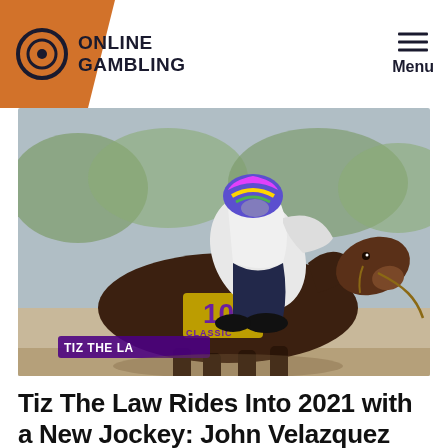ONLINE GAMBLING | Menu
[Figure (photo): A jockey in white silks and colorful helmet cap rides a dark horse labeled 'Tiz The Law' with number 103 cloth and 'CLASSIC' text, during a race.]
Tiz The Law Rides Into 2021 with a New Jockey: John Velazquez